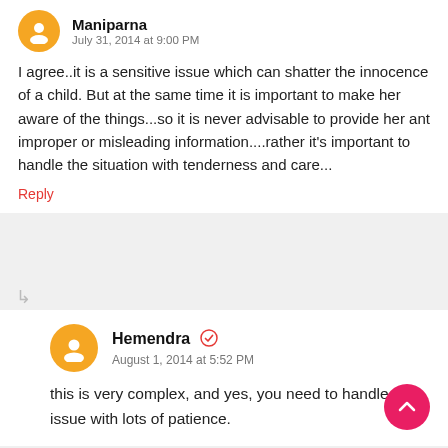Maniparna
July 31, 2014 at 9:00 PM
I agree..it is a sensitive issue which can shatter the innocence of a child. But at the same time it is important to make her aware of the things...so it is never advisable to provide her ant improper or misleading information....rather it's important to handle the situation with tenderness and care...
Reply
Hemendra
August 1, 2014 at 5:52 PM
this is very complex, and yes, you need to handle this issue with lots of patience.